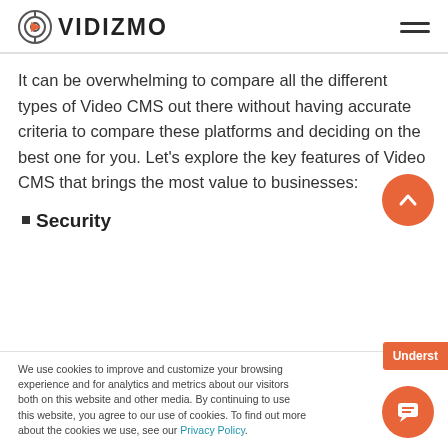VIDIZMO
It can be overwhelming to compare all the different types of Video CMS out there without having accurate criteria to compare these platforms and deciding on the best one for you. Let's explore the key features of Video CMS that brings the most value to businesses:
Security
We use cookies to improve and customize your browsing experience and for analytics and metrics about our visitors both on this website and other media. By continuing to use this website, you agree to our use of cookies. To find out more about the cookies we use, see our Privacy Policy.